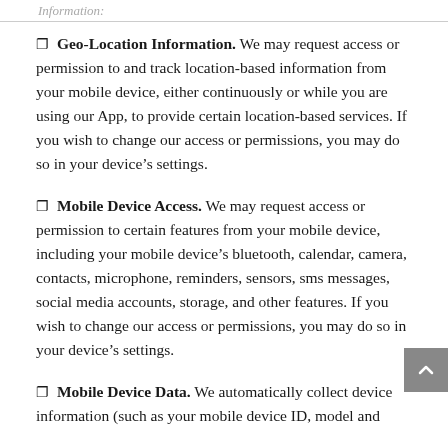Information:
Geo-Location Information. We may request access or permission to and track location-based information from your mobile device, either continuously or while you are using our App, to provide certain location-based services. If you wish to change our access or permissions, you may do so in your device’s settings.
Mobile Device Access. We may request access or permission to certain features from your mobile device, including your mobile device’s bluetooth, calendar, camera, contacts, microphone, reminders, sensors, sms messages, social media accounts, storage, and other features. If you wish to change our access or permissions, you may do so in your device’s settings.
Mobile Device Data. We automatically collect device information (such as your mobile device ID, model and